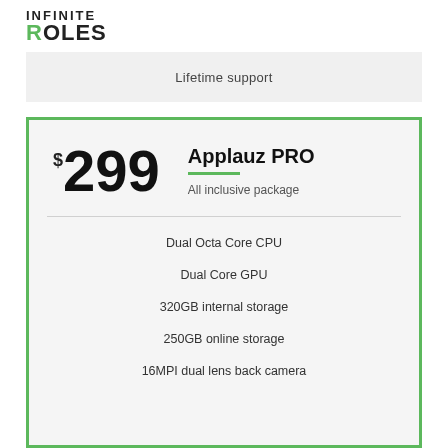INFINITE ROLES
Lifetime support
$299 Applauz PRO — All inclusive package
Dual Octa Core CPU
Dual Core GPU
320GB internal storage
250GB online storage
16MPI dual lens back camera